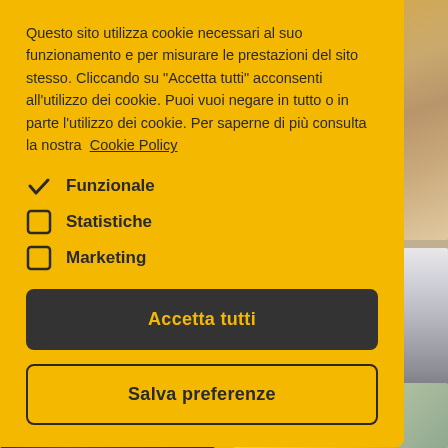[Figure (screenshot): Cookie consent dialog overlay on a website with yellow background. Behind the dialog, partial website photos are visible on the right and bottom edges.]
Questo sito utilizza cookie necessari al suo funzionamento e per misurare le prestazioni del sito stesso. Cliccando su "Accetta tutti" acconsenti all'utilizzo dei cookie. Puoi vuoi negare in tutto o in parte l'utilizzo dei cookie. Per saperne di più consulta la nostra Cookie Policy
✓ Funzionale
□ Statistiche
□ Marketing
Accetta tutti
Salva preferenze